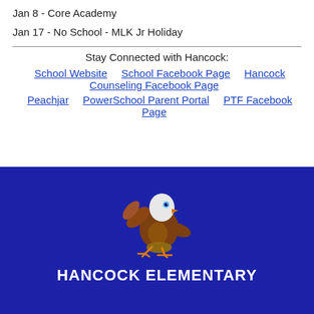Jan 8 - Core Academy
Jan 17 - No School - MLK Jr Holiday
Stay Connected with Hancock:
School Website    School Facebook Page    Hancock Counseling Facebook Page
Peachjar    PowerSchool Parent Portal    PTF Facebook Page
[Figure (illustration): Cartoon eagle mascot waving, used as school logo for Hancock Elementary]
HANCOCK ELEMENTARY